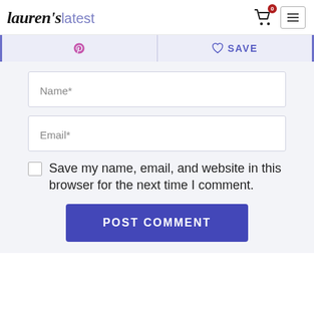lauren's latest
[Figure (screenshot): Pinterest share button and Save button toolbar]
Name*
Email*
Save my name, email, and website in this browser for the next time I comment.
POST COMMENT